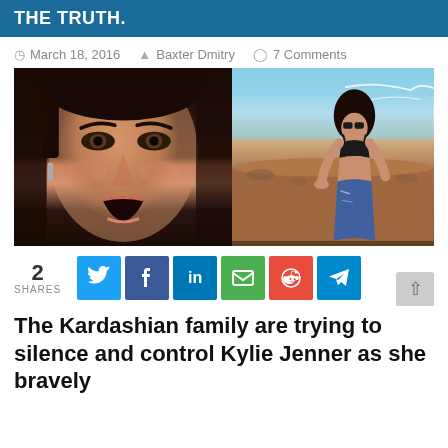THE TRUTH.
March 18, 2016  Baxter Dmitry  7 Comments
[Figure (photo): Two-panel image: left side shows a close-up of a woman's face with dramatic makeup and an open mouth expression; right side shows a woman in black bikini top and ripped jeans posing outdoors in a desert/dry landscape under a blue sky.]
2 SHARES
The Kardashian family are trying to silence and control Kylie Jenner as she bravely